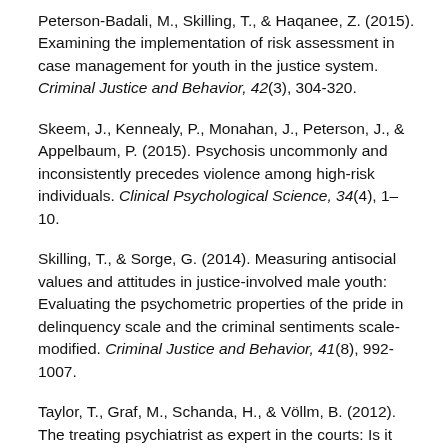Peterson-Badali, M., Skilling, T., & Haqanee, Z. (2015). Examining the implementation of risk assessment in case management for youth in the justice system. Criminal Justice and Behavior, 42(3), 304-320.
Skeem, J., Kennealy, P., Monahan, J., Peterson, J., & Appelbaum, P. (2015). Psychosis uncommonly and inconsistently precedes violence among high-risk individuals. Clinical Psychological Science, 34(4), 1–10.
Skilling, T., & Sorge, G. (2014). Measuring antisocial values and attitudes in justice-involved male youth: Evaluating the psychometric properties of the pride in delinquency scale and the criminal sentiments scale-modified. Criminal Justice and Behavior, 41(8), 992-1007.
Taylor, T., Graf, M., Schanda, H., & Völlm, B. (2012). The treating psychiatrist as expert in the courts: Is it necessary or possible to separate the roles of physician and expert? Criminal Behaviour and Mental...